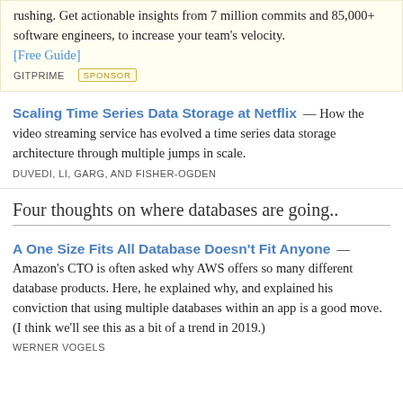rushing. Get actionable insights from 7 million commits and 85,000+ software engineers, to increase your team's velocity. [Free Guide]
GITPRIME SPONSOR
Scaling Time Series Data Storage at Netflix — How the video streaming service has evolved a time series data storage architecture through multiple jumps in scale.
DUVEDI, LI, GARG, AND FISHER-OGDEN
Four thoughts on where databases are going..
A One Size Fits All Database Doesn't Fit Anyone — Amazon's CTO is often asked why AWS offers so many different database products. Here, he explained why, and explained his conviction that using multiple databases within an app is a good move. (I think we'll see this as a bit of a trend in 2019.)
WERNER VOGELS